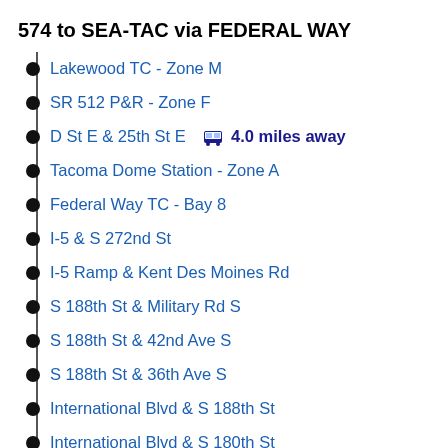574 to SEA-TAC via FEDERAL WAY
Lakewood TC - Zone M
SR 512 P&R - Zone F
D St E & 25th St E  🚌 4.0 miles away
Tacoma Dome Station - Zone A
Federal Way TC - Bay 8
I-5 & S 272nd St
I-5 Ramp & Kent Des Moines Rd
S 188th St & Military Rd S
S 188th St & 42nd Ave S
S 188th St & 36th Ave S
International Blvd & S 188th St
International Blvd & S 180th St
SeaTac Station  🚌 < 1 stop away
SeaTac Airport Terminal - Bay 2